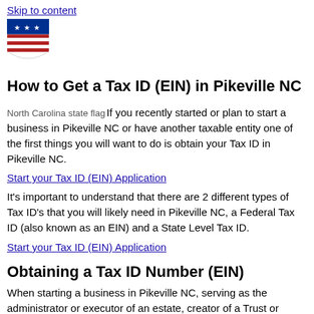Skip to content
[Figure (logo): Government shield logo with stars and red/white stripes]
How to Get a Tax ID (EIN) in Pikeville NC
If you recently started or plan to start a business in Pikeville NC or have another taxable entity one of the first things you will want to do is obtain your Tax ID in Pikeville NC.
Start your Tax ID (EIN) Application
It's important to understand that there are 2 different types of Tax ID's that you will likely need in Pikeville NC, a Federal Tax ID (also known as an EIN) and a State Level Tax ID.
Start your Tax ID (EIN) Application
Obtaining a Tax ID Number (EIN)
When starting a business in Pikeville NC, serving as the administrator or executor of an estate, creator of a Trust or